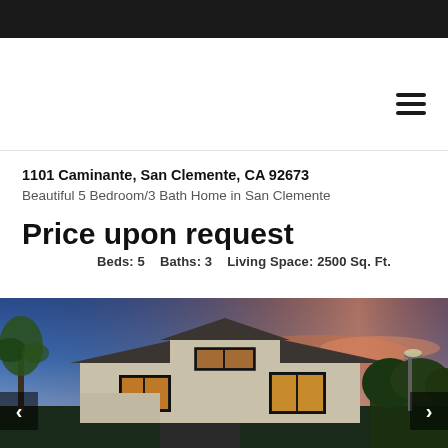1101 Caminante, San Clemente, CA 92673
Beautiful 5 Bedroom/3 Bath Home in San Clemente
Price upon request
Beds: 5    Baths: 3    Living Space: 2500 Sq. Ft.
[Figure (photo): Exterior twilight photo of a beige stucco single-story home with dark-trimmed windows, lit interior, palm trees on the left, a street lamp on the right, and a vivid sunset sky with blue, pink, and orange hues.]